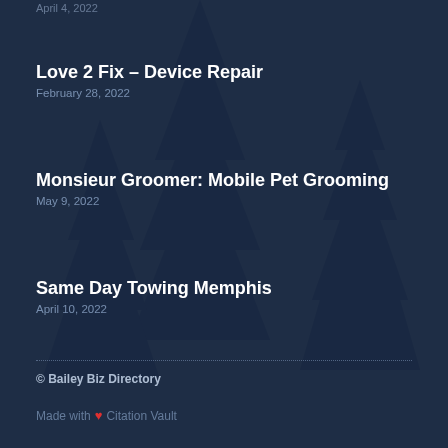April 4, 2022
Love 2 Fix – Device Repair
February 28, 2022
Monsieur Groomer: Mobile Pet Grooming
May 9, 2022
Same Day Towing Memphis
April 10, 2022
© Bailey Biz Directory
Made with ❤ Citation Vault